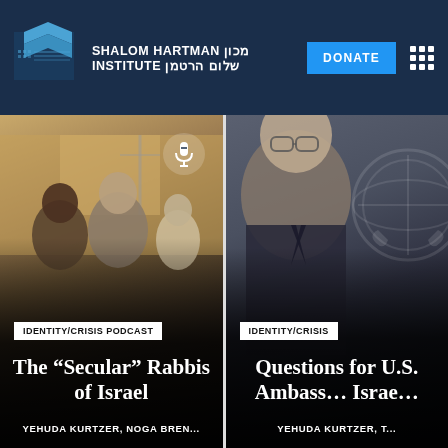SHALOM HARTMAN מכון | INSTITUTE שלום הרטמן | DONATE
[Figure (photo): Left card: photo of people at an outdoor religious gathering, with tallit shawls visible. Overlay text: IDENTITY/CRISIS PODCAST. Title: The “Secular” Rabbis of Israel. Authors: YEHUDA KURTZER, NOGA BREN...]
[Figure (photo): Right card: photo of a smiling man in a suit in front of a United Nations emblem. Overlay text: IDENTITY/CRISIS. Title: Questions [for] U.S. Ambass[ador to] Israe[l]. Authors: YEHUDA KURTZER, T...]